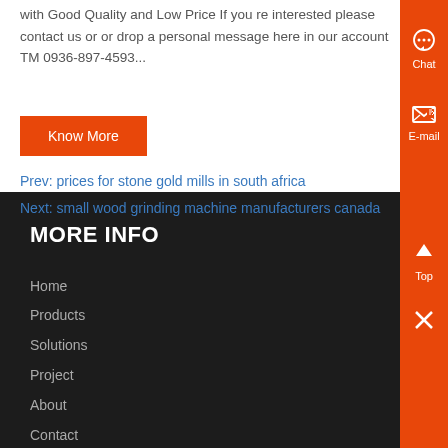with Good Quality and Low Price If you re interested please contact us or or drop a personal message here in our account TM 0936-897-4593...
Know More
Prev: prices for stone gold mills in south africa
Next: small wood grinding machine manufacturers canada
MORE INFO
Home
Products
Solutions
Project
About
Contact